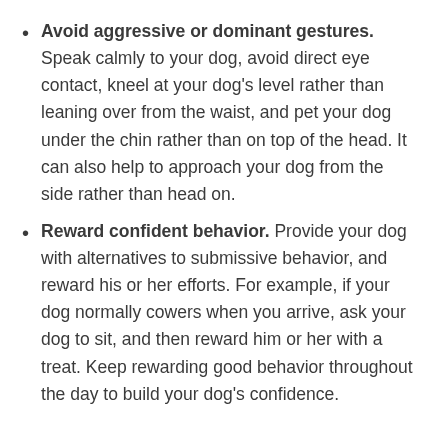Avoid aggressive or dominant gestures. Speak calmly to your dog, avoid direct eye contact, kneel at your dog's level rather than leaning over from the waist, and pet your dog under the chin rather than on top of the head. It can also help to approach your dog from the side rather than head on.
Reward confident behavior. Provide your dog with alternatives to submissive behavior, and reward his or her efforts. For example, if your dog normally cowers when you arrive, ask your dog to sit, and then reward him or her with a treat. Keep rewarding good behavior throughout the day to build your dog's confidence.